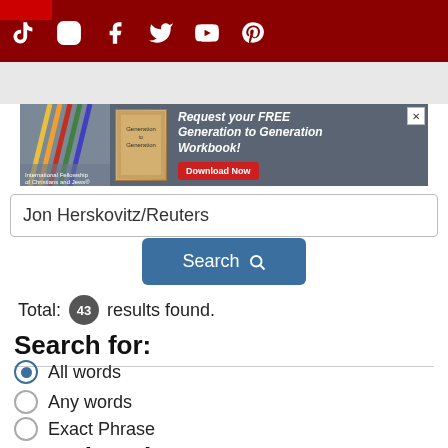Social media navigation bar with TikTok, Instagram, Facebook, Twitter, YouTube, Pinterest icons
[Figure (screenshot): Advertisement banner for International Fellowship of Christians and Jews - Request your FREE Generation to Generation Workbook! Download Now]
Jon Herskovitz/Reuters
Search
Total: 43 results found.
Search for:
All words
Any words
Exact Phrase
Search Only: